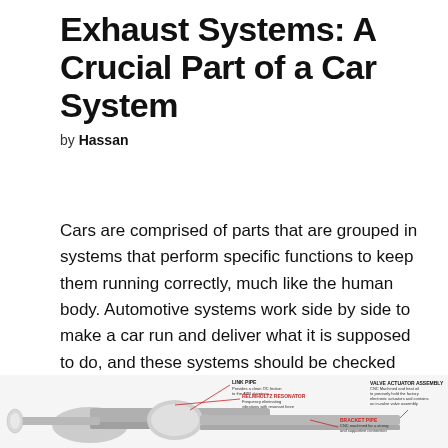Exhaust Systems: A Crucial Part of a Car System
by Hassan
Cars are comprised of parts that are grouped in systems that perform specific functions to keep them running correctly, much like the human body. Automotive systems work side by side to make a car run and deliver what it is supposed to do, and these systems should be checked regularly.
[Figure (photo): Photograph and diagram of an exhaust system with labeled parts including Link Pipe, Helmholtz Resonator, Bracket Pipe, and Valve Actuator Assembly]